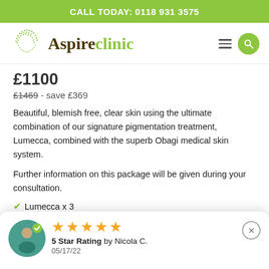CALL TODAY: 0118 931 3575
[Figure (logo): Aspire Clinic logo with green dot pattern arc and green/dark text]
£1100
£1469 - save £369
Beautiful, blemish free, clear skin using the ultimate combination of our signature pigmentation treatment, Lumecca, combined with the superb Obagi medical skin system.
Further information on this package will be given during your consultation.
Lumecca x 3
5 Star Rating by Nicola C. 05/17/22